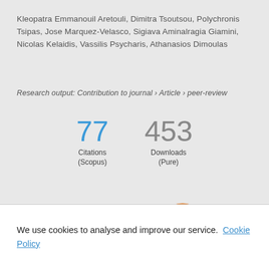Kleopatra Emmanouil Aretouli, Dimitra Tsoutsou, Polychronis Tsipas, Jose Marquez-Velasco, Sigiava Aminalragia Giamini, Nicolas Kelaidis, Vassilis Psycharis, Athanasios Dimoulas
Research output: Contribution to journal › Article › peer-review
[Figure (infographic): Metrics showing 77 Citations (Scopus) and 453 Downloads (Pure)]
[Figure (infographic): Altmetric flower logo and orange donut chart with number 3]
We use cookies to analyse and improve our service. Cookie Policy